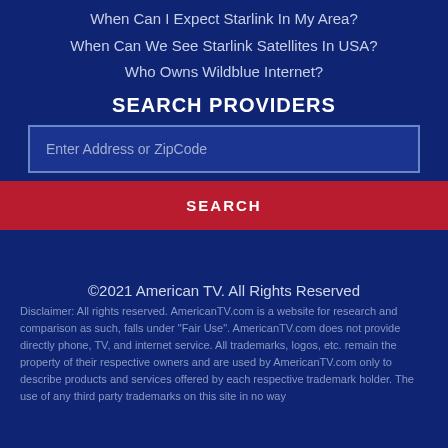When Can I Expect Starlink In My Area?
When Can We See Starlink Satellites In USA?
Who Owns Wildblue Internet?
SEARCH PROVIDERS
Enter Address or ZipCode
SEARCH
©2021 American TV. All Rights Reserved
Disclaimer: All rights reserved. AmericanTV.com is a website for research and comparison as such, falls under "Fair Use". AmericanTV.com does not provide directly phone, TV, and internet service. All trademarks, logos, etc. remain the property of their respective owners and are used by AmericanTV.com only to describe products and services offered by each respective trademark holder. The use of any third party trademarks on this site in no way